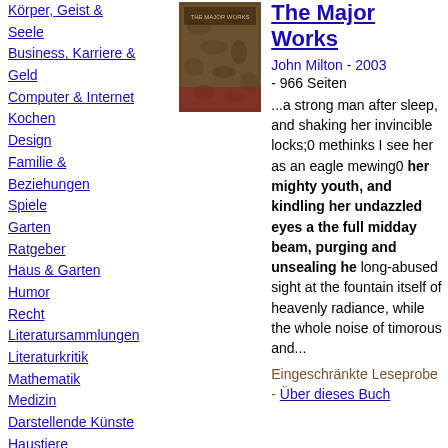Körper, Geist & Seele
Business, Karriere & Geld
Computer & Internet
Kochen
Design
Familie & Beziehungen
Spiele
Garten
Ratgeber
Haus & Garten
Humor
Recht
Literatursammlungen
Literaturkritik
Mathematik
Medizin
Darstellende Künste
Haustiere
Philosophie
Fotografie
Poesio
[Figure (photo): Book cover of The Major Works by John Milton]
The Major Works
John Milton - 2003 - 966 Seiten
...a strong man after sleep, and shaking her invincible locks;0 methinks I see her as an eagle mewing0 her mighty youth, and kindling her undazzled eyes a the full midday beam, purging and unsealing he long-abused sight at the fountain itself of heavenly radiance, while the whole noise of timorous and...
Eingeschränkte Leseprobe - Über dieses Buch